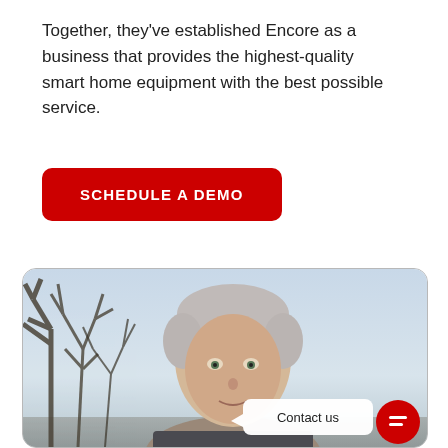Together, they've established Encore as a business that provides the highest-quality smart home equipment with the best possible service.
[Figure (other): Red rounded-rectangle button with white bold uppercase text reading 'SCHEDULE A DEMO']
[Figure (photo): Photo of a middle-aged man with short grey hair outdoors in front of bare winter trees against a light sky. A 'Contact us' chat bubble and red chat icon button appear in the lower right corner of the photo.]